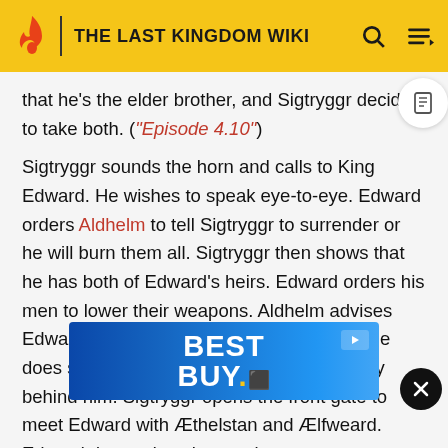THE LAST KINGDOM WIKI
that he's the elder brother, and Sigtryggr decides to take both. ("Episode 4.10")
Sigtryggr sounds the horn and calls to King Edward. He wishes to speak eye-to-eye. Edward orders Aldhelm to tell Sigtryggr to surrender or he will burn them all. Sigtryggr then shows that he has both of Edward's heirs. Edward orders his men to lower their weapons. Aldhelm advises Edward against approaching the gate, but he does so, with Aldhelm and the Wessex army behind him. Sigtryggr opens the front gate to meet Edward with Æthelstan and Ælfweard. Edward demands to be reunited with his sons but Sigtryggr sends one of his sons but ... away.
[Figure (other): Best Buy advertisement banner overlay]